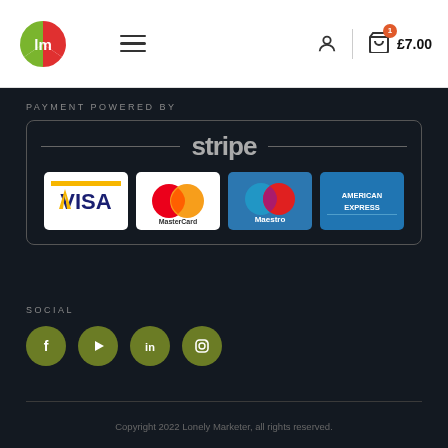[Figure (logo): Lonely Marketer logo - red and green circular icon with LM letters]
[Figure (infographic): Payment powered by Stripe section with Visa, MasterCard, Maestro, and American Express card logos]
PAYMENT POWERED BY
SOCIAL
[Figure (infographic): Social media icons: Facebook, YouTube, LinkedIn, Instagram - olive green circular buttons]
Copyright 2022 Lonely Marketer, all rights reserved.